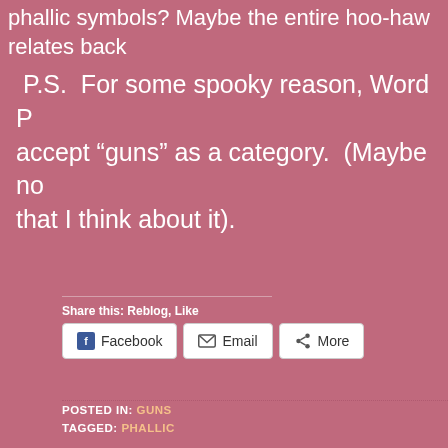phallic symbols? Maybe the entire hoo-haw relates back
P.S.  For some spooky reason, Word P... accept “guns” as a category.  (Maybe no that I think about it).
Share this: Reblog, Like
Facebook  Email  More
Loading...
POSTED IN: GUNS
TAGGED: PHALLIC
A SISTER’S LOVE – A REBLOG BY